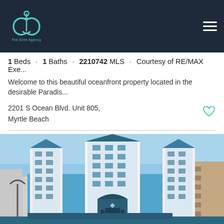The Elite Agency
1 Beds · 1 Baths · 2210742 MLS · Courtesy of RE/MAX Exe...
Welcome to this beautiful oceanfront property located in the desirable Paradis...
2201 S Ocean Blvd. Unit 805, Myrtle Beach
Listing courtesy of RE/MAX Executive , Victor Duval. Selling Office: Keller Williams Innovate South , Jay Gray.
[Figure (photo): Exterior photo of a large oceanfront condominium building with blue and white facade, multiple towers, and a large central entrance, with adjacent buildings visible on both sides.]